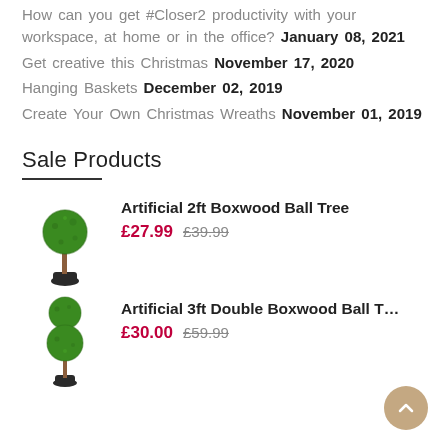How can you get #Closer2 productivity with your workspace, at home or in the office? January 08, 2021
Get creative this Christmas November 17, 2020
Hanging Baskets December 02, 2019
Create Your Own Christmas Wreaths November 01, 2019
Sale Products
Artificial 2ft Boxwood Ball Tree £27.99 £39.99
Artificial 3ft Double Boxwood Ball Tree £30.00 £59.99